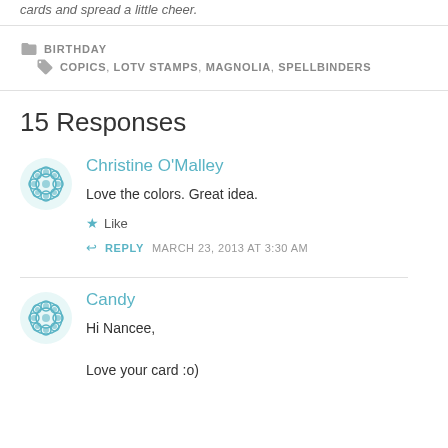cards and spread a little cheer.
BIRTHDAY   COPICS, LOTV STAMPS, MAGNOLIA, SPELLBINDERS
15 Responses
Christine O'Malley
Love the colors. Great idea.
Like
REPLY   MARCH 23, 2013 AT 3:30 AM
Candy
Hi Nancee,
Love your card :o)